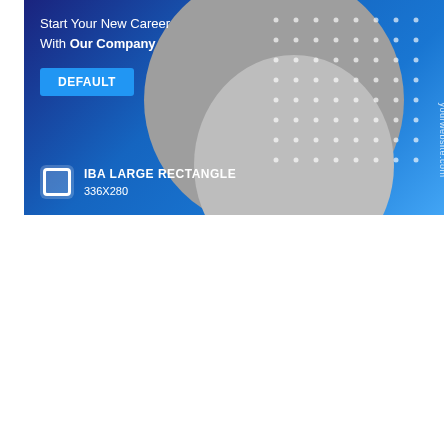[Figure (infographic): IBA Large Rectangle 336x280 ad template. Dark blue gradient background with gray organic blob shapes on the right. White dot pattern top right. Text: 'Start Your New Career With Our Company'. Blue DEFAULT button. Bottom left: icon and label 'IBA LARGE RECTANGLE 336X280'. Vertical URL 'yourwebsite.com' on right edge.]
[Figure (infographic): Client Ad Standard Size ad template. Dark blue gradient background. Large white bold text 'Client Ad Standard Size'. White rule. Text: 'Start Your New Career With Our Company'. Blue DEFAULT button. Gray blob shapes right side with white dot pattern.]
[Figure (infographic): Mobile Ad Unit 320x50 strip. Gray background. Left blue panel: DEFAULT button and 'Client Ad' text. Vertical white divider. Center: 'Start Your New Career With Our Company www.yourwebsite.com'. Right: icon and 'MOBILE AD UNIT 320X50' label.]